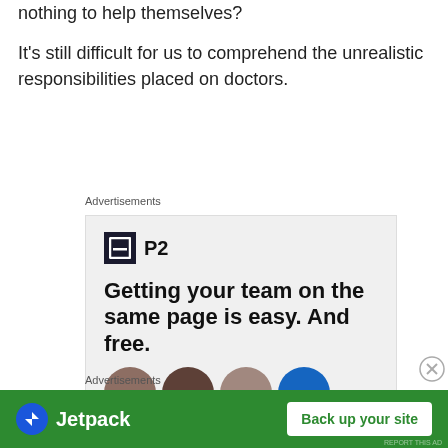nothing to help themselves?
It's still difficult for us to comprehend the unrealistic responsibilities placed on doctors.
Advertisements
[Figure (screenshot): P2 advertisement: logo with dark square icon and 'P2' text, headline 'Getting your team on the same page is easy. And free.' with profile photo avatars at bottom]
Advertisements
[Figure (screenshot): Jetpack advertisement: green background with Jetpack logo and 'Back up your site' button]